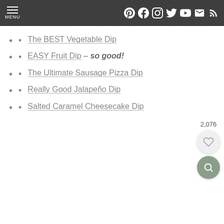MENU | Pinterest Facebook Instagram Twitter YouTube Email RSS
The BEST Vegetable Dip
EASY Fruit Dip – so good!
The Ultimate Sausage Pizza Dip
Really Good Jalapeño Dip
Salted Caramel Cheesecake Dip
2,076